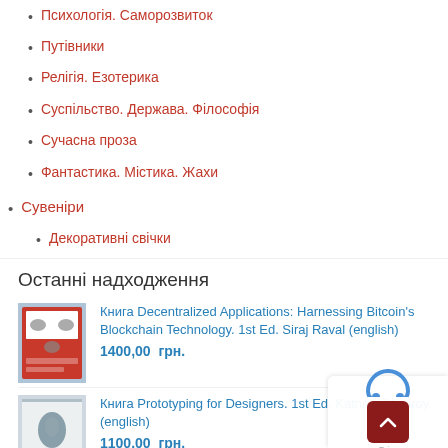Психологія. Саморозвиток
Путівники
Релігія. Езотерика
Суспільство. Держава. Філософія
Сучасна проза
Фантастика. Містика. Жахи
Сувеніри
Декоративні свічки
Останні надходження
Книга Decentralized Applications: Harnessing Bitcoin's Blockchain Technology. 1st Ed. Siraj Raval (english)
1400,00  грн.
Книга Prototyping for Designers. 1st Ed. Kathryn Mcelroy (english)
1100,00  грн.
Книга Designing Data-Intensive Applications. 1st Ed. Martin